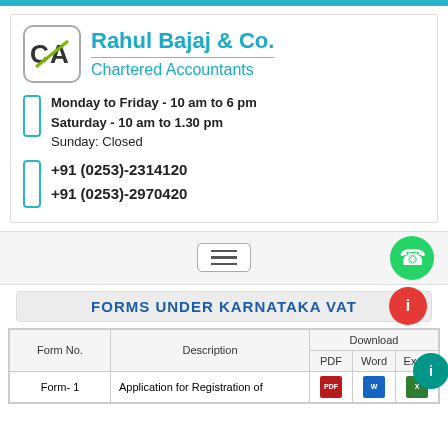[Figure (logo): CA logo and Rahul Bajaj & Co. Chartered Accountants header with office hours and phone numbers]
Monday to Friday - 10 am to 6 pm
Saturday - 10 am to 1.30 pm
Sunday: Closed
+91 (0253)-2314120
+91 (0253)-2970420
[Figure (other): Navigation bar with hamburger menu button and WhatsApp icon]
FORMS UNDER KARNATAKA VAT
| Form No. | Description | Download: PDF | Download: Word | Download: Excel |
| --- | --- | --- | --- | --- |
| Form-1 | Application for Registration of | [PDF icon] | [Word icon] | [Excel icon] |